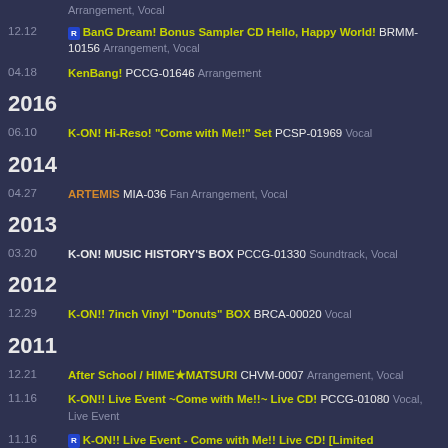Arrangement, Vocal
12.12 BanG Dream! Bonus Sampler CD Hello, Happy World! BRMM-10156 Arrangement, Vocal
04.18 KenBang! PCCG-01646 Arrangement
2016
06.10 K-ON! Hi-Reso! "Come with Me!!" Set PCSP-01969 Vocal
2014
04.27 ARTEMIS MIA-036 Fan Arrangement, Vocal
2013
03.20 K-ON! MUSIC HISTORY'S BOX PCCG-01330 Soundtrack, Vocal
2012
12.29 K-ON!! 7inch Vinyl "Donuts" BOX BRCA-00020 Vocal
2011
12.21 After School / HIME★MATSURI CHVM-0007 Arrangement, Vocal
11.16 K-ON!! Live Event ~Come with Me!!~ Live CD! PCCG-01080 Vocal, Live Event
11.16 K-ON!! Live Event - Come with Me!! Live CD! [Limited